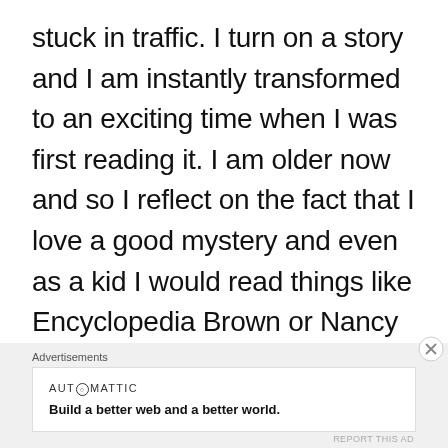stuck in traffic. I turn on a story and I am instantly transformed to an exciting time when I was first reading it. I am older now and so I reflect on the fact that I love a good mystery and even as a kid I would read things like Encyclopedia Brown or Nancy Drew. So it isn't all that hard to imagine that I would love these stories too. The stories gave me enough fuel to get through my English classes because it was something I was actually interested in. And I
Advertisements
AUTOMATTIC
Build a better web and a better world.